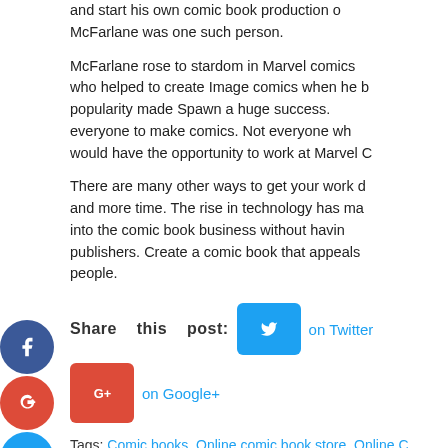and start his own comic book production o... McFarlane was one such person.
McFarlane rose to stardom in Marvel comics... who helped to create Image comics when he b... popularity made Spawn a huge success... everyone to make comics. Not everyone wh... would have the opportunity to work at Marvel C...
There are many other ways to get your work d... and more time. The rise in technology has ma... into the comic book business without havin... publishers. Create a comic book that appeals... people.
Share this post: on Twitter on Google+
Tags: Comic books, Online comic book store, Online C...
This entry was posted on Sunday, October 17th, 2021 a... Business and Management. You can follow any respons... RSS 2.0 feed. Both comments and pings are currently cl...